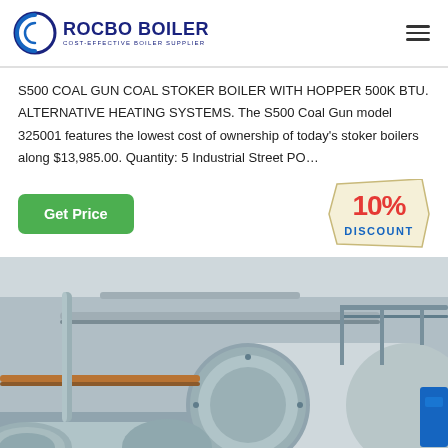ROCBO BOILER — COST-EFFECTIVE BOILER SUPPLIER
S500 COAL GUN COAL STOKER BOILER WITH HOPPER 500K BTU. ALTERNATIVE HEATING SYSTEMS. The S500 Coal Gun model 325001 features the lowest cost of ownership of today's stoker boilers along $13,985.00. Quantity: 5 Industrial Street PO…
[Figure (infographic): 10% DISCOUNT badge/stamp graphic]
[Figure (photo): Industrial boiler room with large horizontal cylindrical boilers, pipes, and industrial equipment]